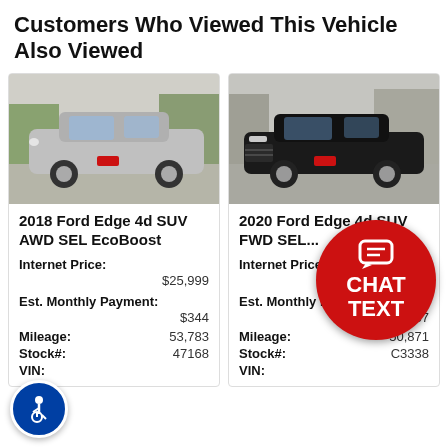Customers Who Viewed This Vehicle Also Viewed
[Figure (photo): Silver 2018 Ford Edge SUV at a dealership lot]
2018 Ford Edge 4d SUV AWD SEL EcoBoost
Internet Price:
$25,999
Est. Monthly Payment:
$344
Mileage: 53,783
Stock#: 47168
VIN:
[Figure (photo): Black 2020 Ford Edge SUV at a dealership lot]
2020 Ford Edge 4d SUV FWD SEL...
Internet Price:
$[partially obscured]
Est. Monthly Payment:
$357
Mileage: 50,871
Stock#: C3338
VIN:
[Figure (photo): Partial view of a third vehicle card, cut off on right edge]
201 SUV
Mile
Stoc
VIN: